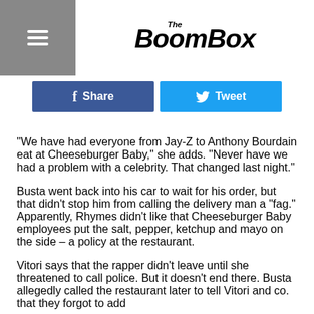The BoomBox
[Figure (other): Facebook Share button and Twitter Tweet button]
"We have had everyone from Jay-Z to Anthony Bourdain eat at Cheeseburger Baby," she adds. "Never have we had a problem with a celebrity. That changed last night."
Busta went back into his car to wait for his order, but that didn't stop him from calling the delivery man a "fag." Apparently, Rhymes didn't like that Cheeseburger Baby employees put the salt, pepper, ketchup and mayo on the side – a policy at the restaurant.
Vitori says that the rapper didn't leave until she threatened to call police. But it doesn't end there. Busta allegedly called the restaurant later to tell Vitori and co. that they forgot to add